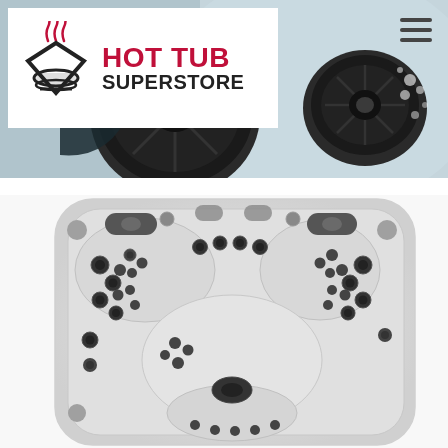[Figure (photo): Close-up photo of hot tub water jets in operation, showing dark circular jet fittings with bubbling water in a grey/blue tub shell, used as hero banner background]
[Figure (logo): Hot Tub Superstore logo: diamond shape icon with steam waves on white background, text 'HOT TUB' in red bold and 'SUPERSTORE' in black bold]
[Figure (photo): Overhead bird's-eye view of a white hot tub with multiple jet seats, headrests, and numerous dark jet fittings arranged throughout the shell]